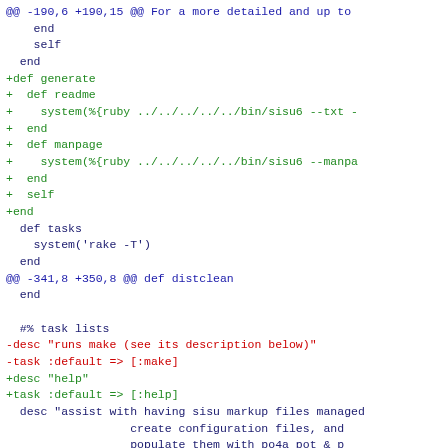code diff showing git patch content with blue, green, and red colored lines